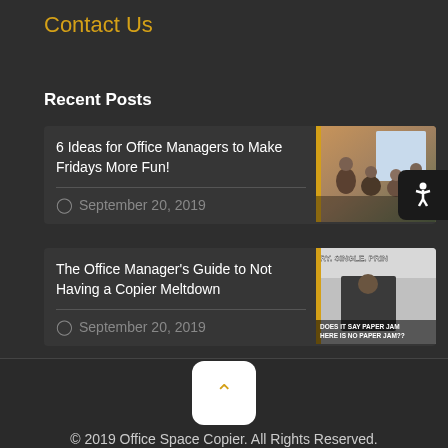Contact Us
Recent Posts
6 Ideas for Office Managers to Make Fridays More Fun!
September 20, 2019
[Figure (photo): Office meeting scene with people sitting in a circle]
The Office Manager's Guide to Not Having a Copier Meltdown
September 20, 2019
[Figure (photo): Meme image with text: RY. SINGLE. PRINT. DOES IT SAY PAPER JAM... HERE IS NO PAPER JAM??]
© 2019 Office Space Copier. All Rights Reserved.